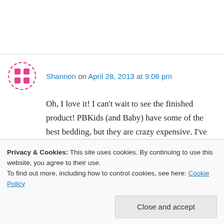Shannon on April 28, 2013 at 9:06 pm
Oh, I love it! I can't wait to see the finished product! PBKids (and Baby) have some of the best bedding, but they are crazy expensive. I've been eyeing that exact same comforter you've picked out. 🙂
↳ Reply
Privacy & Cookies: This site uses cookies. By continuing to use this website, you agree to their use. To find out more, including how to control cookies, see here: Cookie Policy
Close and accept